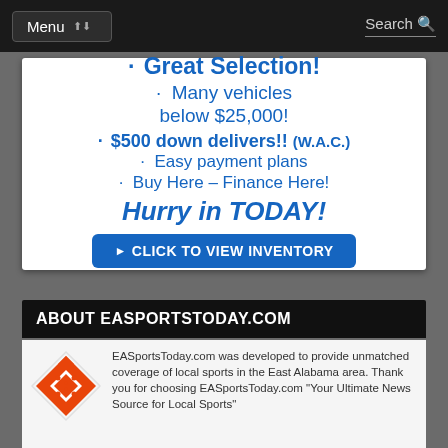Menu | Search
[Figure (infographic): Car dealership advertisement with blue text bullet points: Great Selection!, Many vehicles below $25,000!, $500 down delivers!! (W.A.C.), Easy payment plans, Buy Here – Finance Here!, Hurry in TODAY!, CLICK TO VIEW INVENTORY button]
ABOUT EASPORTSTODAY.COM
EASportsToday.com was developed to provide unmatched coverage of local sports in the East Alabama area. Thank you for choosing EASportsToday.com "Your Ultimate News Source for Local Sports"